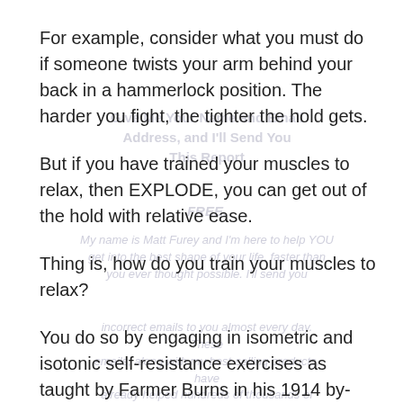For example, consider what you must do if someone twists your arm behind your back in a hammerlock position. The harder you fight, the tighter the hold gets.
But if you have trained your muscles to relax, then EXPLODE, you can get out of the hold with relative ease.
Thing is, how do you train your muscles to relax?
You do so by engaging in isometric and isotonic self-resistance exercises as taught by Farmer Burns in his 1914 by-mail course, Lessons in Wrestling and Physical Culture. These exercises not only